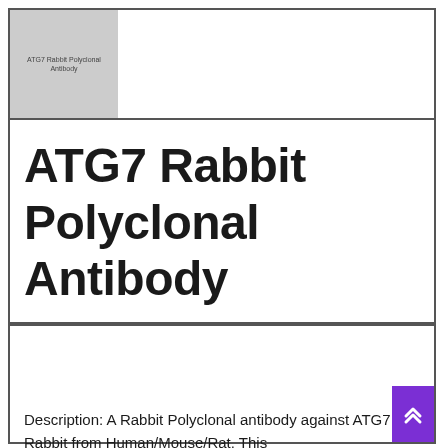[Figure (photo): Small thumbnail image of ATG7 Rabbit Polyclonal Antibody product with text label]
ATG7 Rabbit Polyclonal Antibody
| Product Code | Supplier | Volume | Price |
| --- | --- | --- | --- |
| ES8573-100ul | ELK Biotech | 100ul | EUR 279 |
Description: A Rabbit Polyclonal antibody against ATG7 Rabbit from Human/Mouse/Rat. This